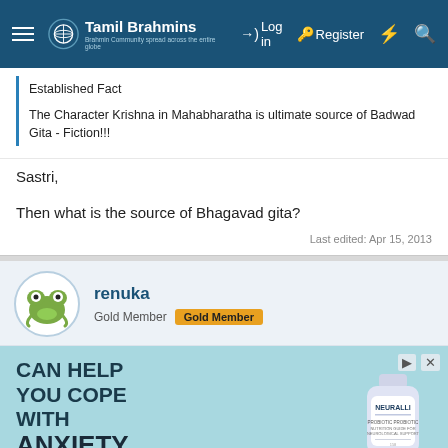Tamil Brahmins — Log in | Register
Established Fact

The Character Krishna in Mahabharatha is ultimate source of Badwad Gita - Fiction!!!
Sastri,

Then what is the source of Bhagavad gita?
Last edited: Apr 15, 2013
renuka
Gold Member  Gold Member
[Figure (infographic): Advertisement banner: CAN HELP YOU COPE WITH ANXIETY - Bened Life, with a product bottle image (NEURALLI)]